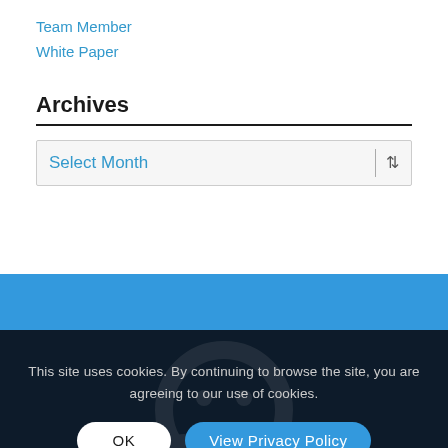Team Member
White Paper
Archives
Select Month
This site uses cookies. By continuing to browse the site, you are agreeing to our use of cookies.
OK
View Privacy Policy